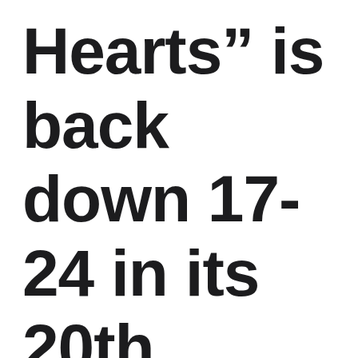Hearts” is back down 17-24 in its 20th charting week. A